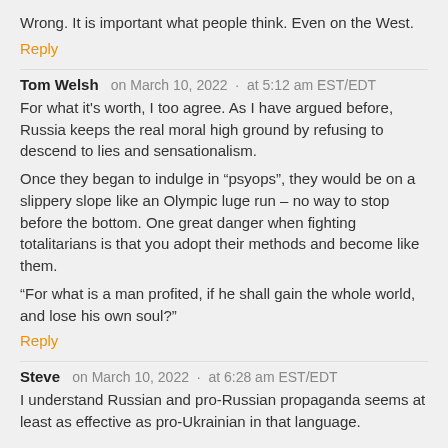Wrong. It is important what people think. Even on the West.
Reply
Tom Welsh   on March 10, 2022  ·  at 5:12 am EST/EDT
For what it's worth, I too agree. As I have argued before, Russia keeps the real moral high ground by refusing to descend to lies and sensationalism.
Once they began to indulge in “psyops”, they would be on a slippery slope like an Olympic luge run – no way to stop before the bottom. One great danger when fighting totalitarians is that you adopt their methods and become like them.
“For what is a man profited, if he shall gain the whole world, and lose his own soul?”
Reply
Steve   on March 10, 2022  ·  at 6:28 am EST/EDT
I understand Russian and pro-Russian propaganda seems at least as effective as pro-Ukrainian in that language.